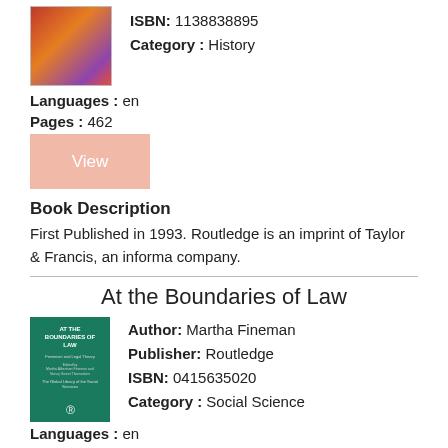[Figure (illustration): Book cover thumbnail with colorful abstract design]
ISBN: 1138838895
Category : History
Languages : en
Pages : 462
[Figure (other): View button - salmon/peach colored button with text 'View']
Book Description
First Published in 1993. Routledge is an imprint of Taylor & Francis, an informa company.
At the Boundaries of Law
[Figure (illustration): Book cover for 'At the Boundaries of Law' - green cover with white text]
Author: Martha Fineman
Publisher: Routledge
ISBN: 0415635020
Category : Social Science
Languages : en